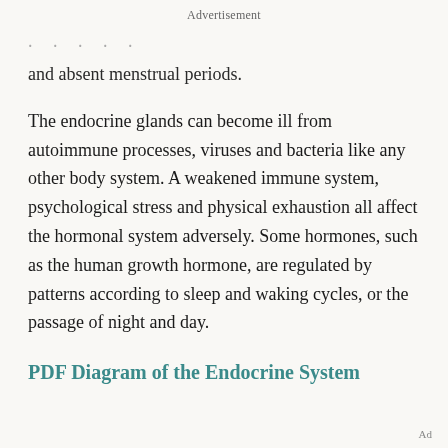Advertisement
and absent menstrual periods.
The endocrine glands can become ill from autoimmune processes, viruses and bacteria like any other body system. A weakened immune system, psychological stress and physical exhaustion all affect the hormonal system adversely. Some hormones, such as the human growth hormone, are regulated by patterns according to sleep and waking cycles, or the passage of night and day.
PDF Diagram of the Endocrine System
Ad